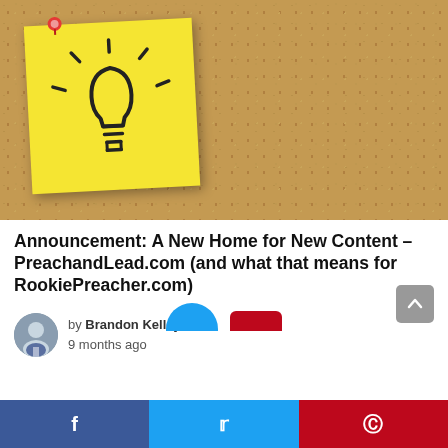[Figure (photo): A yellow sticky note with a hand-drawn lightbulb icon pinned with a red pushpin to a cork bulletin board background.]
Announcement: A New Home for New Content – PreachandLead.com (and what that means for RookiePreacher.com)
by Brandon Kelley
9 months ago